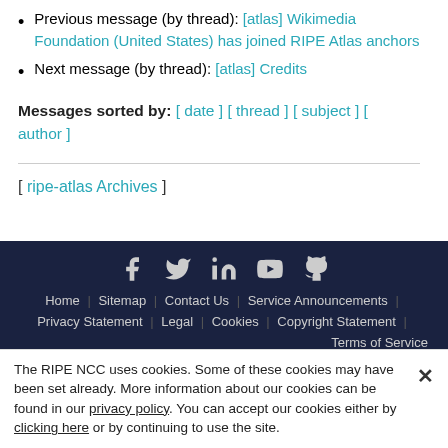Previous message (by thread): [atlas] Wikimedia Foundation (United States) has joined RIPE Atlas anchors
Next message (by thread): [atlas] Credits
Messages sorted by: [ date ] [ thread ] [ subject ] [ author ]
[ ripe-atlas Archives ]
Home | Sitemap | Contact Us | Service Announcements | Privacy Statement | Legal | Cookies | Copyright Statement | Terms of Service
The RIPE NCC uses cookies. Some of these cookies may have been set already. More information about our cookies can be found in our privacy policy. You can accept our cookies either by clicking here or by continuing to use the site.